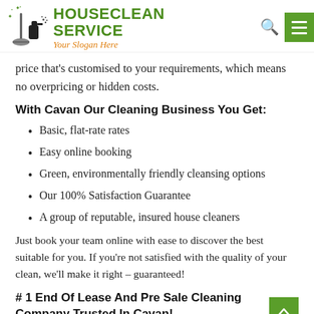[Figure (logo): HouseClean Service logo with cleaning equipment icon, green bold text HOUSECLEAN SERVICE, orange italic slogan 'Your Slogan Here']
price that's customised to your requirements, which means no overpricing or hidden costs.
With Cavan Our Cleaning Business You Get:
Basic, flat-rate rates
Easy online booking
Green, environmentally friendly cleansing options
Our 100% Satisfaction Guarantee
A group of reputable, insured house cleaners
Just book your team online with ease to discover the best suitable for you. If you're not satisfied with the quality of your clean, we'll make it right – guaranteed!
# 1 End Of Lease And Pre Sale Cleaning Company Trusted In Cavan!